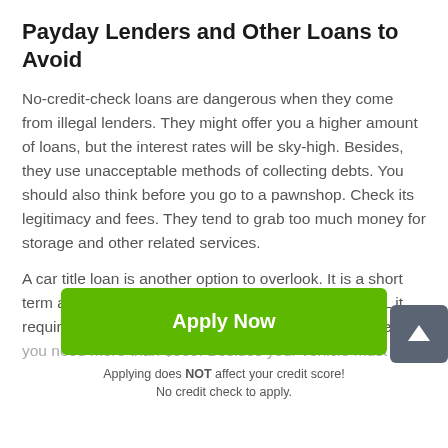Payday Lenders and Other Loans to Avoid
No-credit-check loans are dangerous when they come from illegal lenders. They might offer you a higher amount of loans, but the interest rates will be sky-high. Besides, they use unacceptable methods of collecting debts. You should also think before you go to a pawnshop. Check its legitimacy and fees. They tend to grab too much money for storage and other related services.
A car title loan is another option to overlook. It is a short term and expensive as a pay day loan Midlothian in IL it requires your car as collateral. This loan is acceptable if you need more than $500. Besides your vehicle must
Apply Now
Applying does NOT affect your credit score!
No credit check to apply.